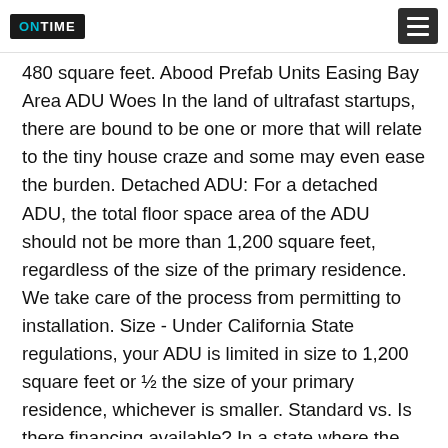ONTIME [logo] [menu button]
480 square feet. Abood Prefab Units Easing Bay Area ADU Woes In the land of ultrafast startups, there are bound to be one or more that will relate to the tiny house craze and some may even ease the burden. Detached ADU: For a detached ADU, the total floor space area of the ADU should not be more than 1,200 square feet, regardless of the size of the primary residence. We take care of the process from permitting to installation. Size - Under California State regulations, your ADU is limited in size to 1,200 square feet or ½ the size of your primary residence, whichever is smaller. Standard vs. Is there financing available? In a state where the weather ranges from the dry, arid heat of the Mojave Desert to the snowy